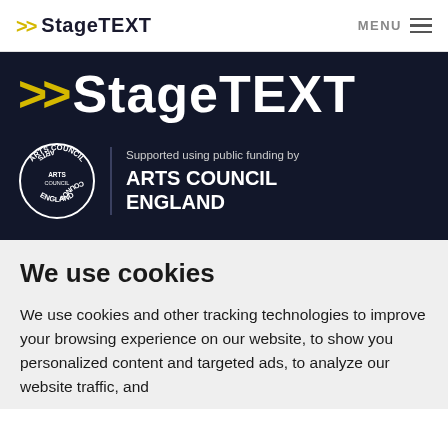>> StageTEXT    MENU
[Figure (logo): StageTEXT logo with yellow chevrons on dark navy background hero banner, with Arts Council England circular badge and text 'Supported using public funding by ARTS COUNCIL ENGLAND']
We use cookies
We use cookies and other tracking technologies to improve your browsing experience on our website, to show you personalized content and targeted ads, to analyze our website traffic, and